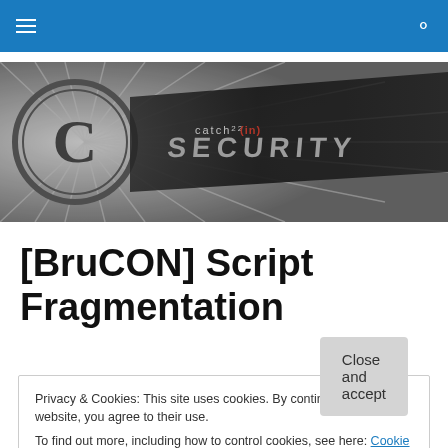navigation bar with hamburger menu and search icon
[Figure (illustration): Black and white banner image with rays/sunburst pattern, copyright C symbol on the left, and stylized text reading 'catch22 (in)SECURITY' on a diagonal band across the image]
[BruCON] Script Fragmentation
Privacy & Cookies: This site uses cookies. By continuing to use this website, you agree to their use.
To find out more, including how to control cookies, see here: Cookie Policy
Close and accept